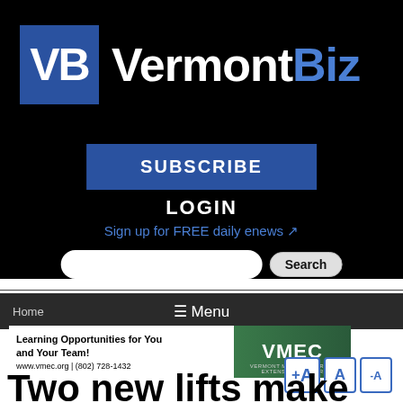[Figure (logo): VermontBiz logo with blue VB box and white/blue text on black background]
SUBSCRIBE
LOGIN
Sign up for FREE daily enews
[Figure (screenshot): Search bar with text input and Search button]
Home  ☰ Menu
[Figure (photo): VMEC advertisement: Learning Opportunities for You and Your Team! www.vmec.org | (802) 728-1432]
Two new lifts make